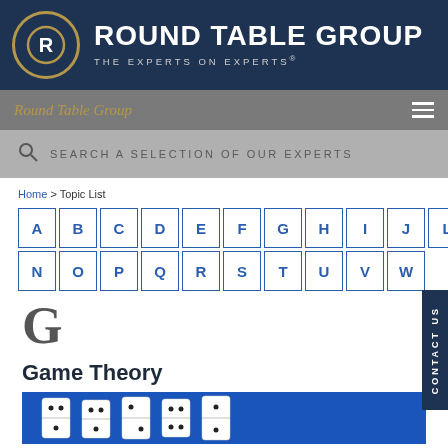[Figure (logo): Round Table Group logo with gold circle R icon and white bold text ROUND TABLE GROUP with tagline THE EXPERTS ON EXPERTS on dark navy background]
Round Table Group
SEARCH A SELECTION OF OUR EXPERTS
Home > Topic List
A B C D E F G H I J L M N O P Q R S T U V W
G
Game Theory
[Figure (photo): Photo of white dominoes on a blue background]